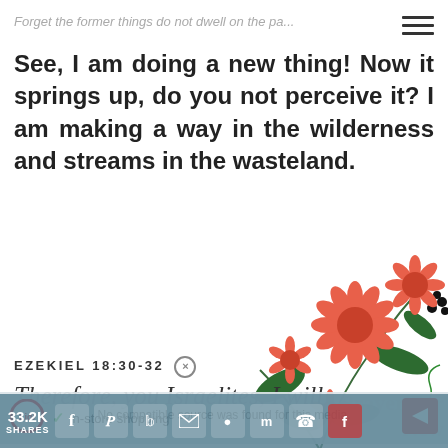Forget the former things do not dwell on the pa...
See, I am doing a new thing! Now it springs up, do you not perceive it? I am making a way in the wilderness and streams in the wasteland.
[Figure (illustration): Decorative illustration of red/coral pom-pom flowers with green leaves and dark berries on branches]
EZEKIEL 18:30-32
Therefore, you Israelites, I will
No compatible source was found for this media.
Prayer For New Beginnings
In-store shopping
33.2K SHARES